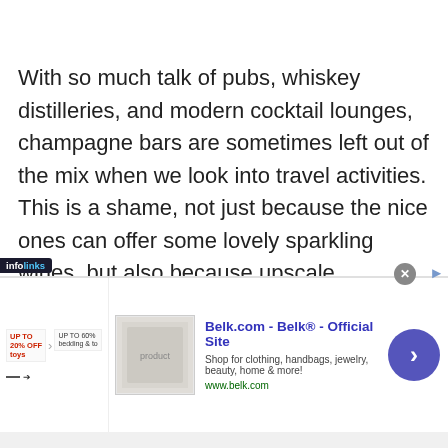With so much talk of pubs, whiskey distilleries, and modern cocktail lounges, champagne bars are sometimes left out of the mix when we look into travel activities. This is a shame, not just because the nice ones can offer some lovely sparkling wines, but also because upscale champagne bars tend to be beautiful and enjoyable spots. Since this is often the case,
[Figure (screenshot): Infolinks advertisement banner for Belk.com showing promotional text, a product image, ad title 'Belk.com - Belk® - Official Site', description 'Shop for clothing, handbags, jewelry, beauty, home & more!', URL www.belk.com, and a blue circular arrow button.]